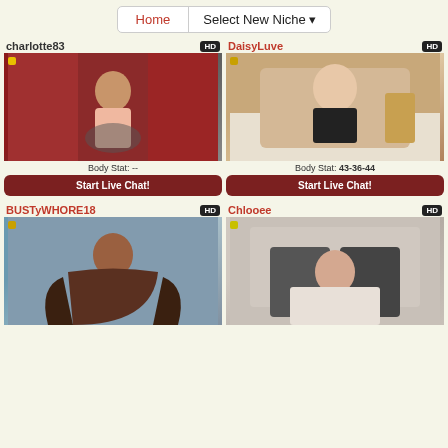Home | Select New Niche
charlotte83 HD
[Figure (photo): Profile photo of charlotte83, woman in pink outfit sitting on dark sofa with red curtain background]
Body Stat: --
Start Live Chat!
DaisyLuve HD
[Figure (photo): Profile photo of DaisyLuve, woman on white bed with gold headboard]
Body Stat: 43-36-44
Start Live Chat!
BUSTyWHORE18 HD
[Figure (photo): Profile photo of BUSTyWHORE18, woman with long curly hair]
Chlooee HD
[Figure (photo): Profile photo of Chlooee, woman lying on bed]